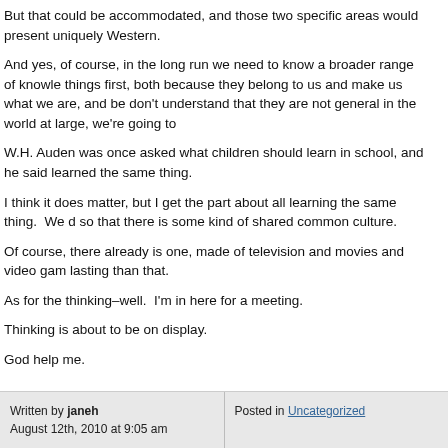But that could be accommodated, and those two specific areas would present uniquely Western.
And yes, of course, in the long run we need to know a broader range of knowledge things first, both because they belong to us and make us what we are, and be don't understand that they are not general in the world at large, we're going to
W.H. Auden was once asked what children should learn in school, and he said learned the same thing.
I think it does matter, but I get the part about all learning the same thing. We d so that there is some kind of shared common culture.
Of course, there already is one, made of television and movies and video gam lasting than that.
As for the thinking–well. I'm in here for a meeting.
Thinking is about to be on display.
God help me.
Written by janeh
August 12th, 2010 at 9:05 am
Posted in Uncategorized